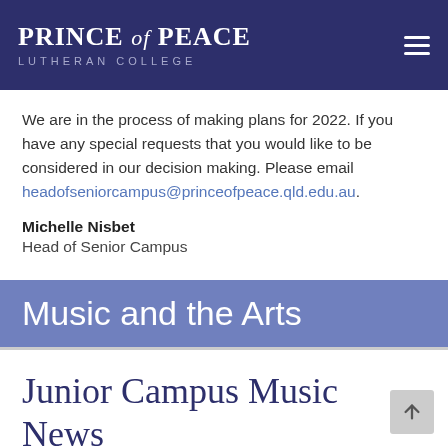PRINCE of PEACE LUTHERAN COLLEGE
We are in the process of making plans for 2022. If you have any special requests that you would like to be considered in our decision making. Please email headofseniorcampus@princeofpeace.qld.edu.au.
Michelle Nisbet
Head of Senior Campus
Music and the Arts
Junior Campus Music News